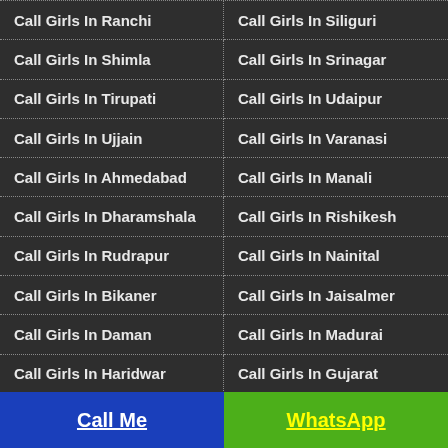Call Girls In Ranchi
Call Girls In Siliguri
Call Girls In Shimla
Call Girls In Srinagar
Call Girls In Tirupati
Call Girls In Udaipur
Call Girls In Ujjain
Call Girls In Varanasi
Call Girls In Ahmedabad
Call Girls In Manali
Call Girls In Dharamshala
Call Girls In Rishikesh
Call Girls In Rudrapur
Call Girls In Nainital
Call Girls In Bikaner
Call Girls In Jaisalmer
Call Girls In Daman
Call Girls In Madurai
Call Girls In Haridwar
Call Girls In Gujarat
Call Me | WhatsApp